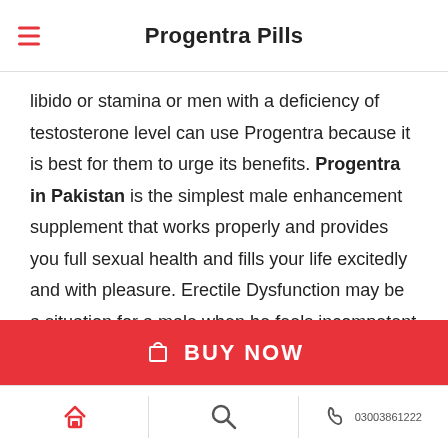Progentra Pills
libido or stamina or men with a deficiency of testosterone level can use Progentra because it is best for them to urge its benefits. Progentra in Pakistan is the simplest male enhancement supplement that works properly and provides you full sexual health and fills your life excitedly and with pleasure. Erectile Dysfunction may be a situation for a male when he feels incompetent to realize a stronger erection for a protracted time. Usually, men feel hesitant to speak about such problems, and that they hide these situations thanks to the fear of being rejected by the
BUY NOW | home | search | 03003861222